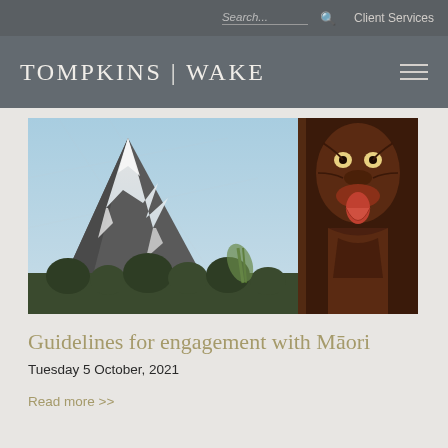Search...  Client Services
[Figure (logo): Tompkins Wake law firm logo with hamburger menu icon on dark grey background]
[Figure (photo): Snow-capped mountain (likely Mount Taranaki) with blue sky and trees in foreground, beside a Maori carved wooden figure (pou) with traditional facial expression]
Guidelines for engagement with Māori
Tuesday 5 October, 2021
Read more >>